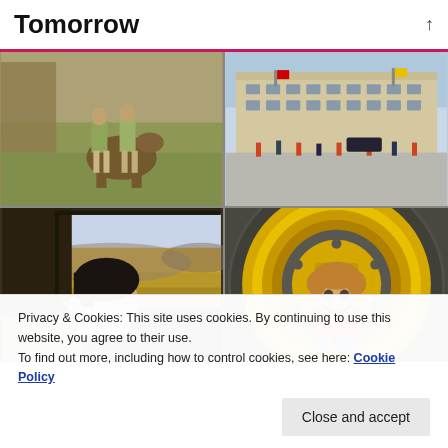Tomorrow
[Figure (photo): Four-photo grid: top-left shows vintage photo of children standing near a horse on grass; top-right shows a grand classical European building facade with people in a plaza; bottom-left shows a child wearing a face mask and earphones looking out a train window at a dry landscape; bottom-right shows a laughing toddler in a red shirt sitting inside a large yellow tractor tire wheel rim.]
Privacy & Cookies: This site uses cookies. By continuing to use this website, you agree to their use.
To find out more, including how to control cookies, see here: Cookie Policy
Close and accept